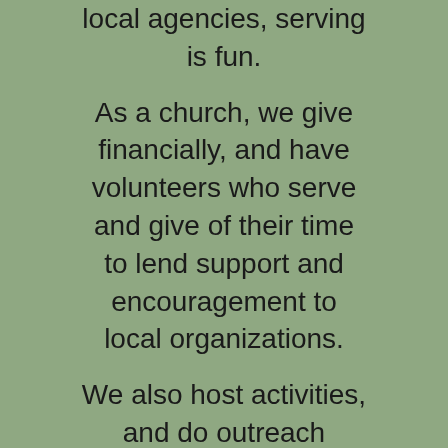local agencies, serving is fun.
As a church, we give financially, and have volunteers who serve and give of their time to lend support and encouragement to local organizations.
We also host activities, and do outreach events to bring the good news of Jesus to those who are looking for Him.